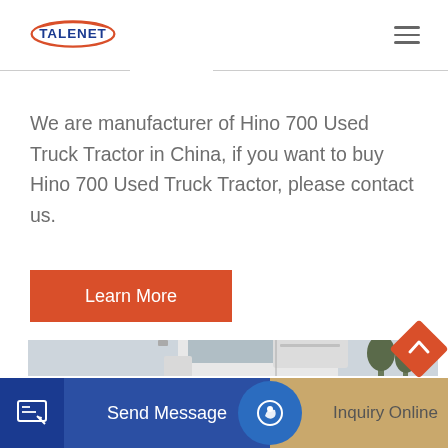[Figure (logo): TALENET logo with red oval swoosh and blue text]
We are manufacturer of Hino 700 Used Truck Tractor in China, if you want to buy Hino 700 Used Truck Tractor, please contact us.
Learn More
[Figure (photo): White Hino 700 truck tractor cab, front three-quarter view against light sky background]
Send Message
Inquiry Online